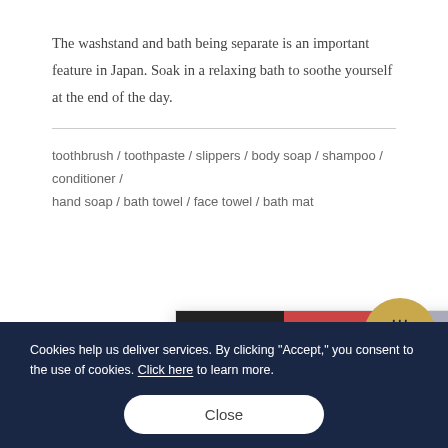The washstand and bath being separate is an important feature in Japan. Soak in a relaxing bath to soothe yourself at the end of the day.
toothbrush / toothpaste / slippers / body soap / shampoo / conditioner / hand soap / bath towel / face towel / bath mat
Other Facilities
[Figure (screenshot): Popup ad showing hotel room images, a teal banner with '20% OFF 夏割2022 7/19(火)～8/31(水)' promotional text, and additional room thumbnail images below.]
Cookies help us deliver services. By clicking "Accept," you consent to the use of cookies. Click here to learn more.
Close